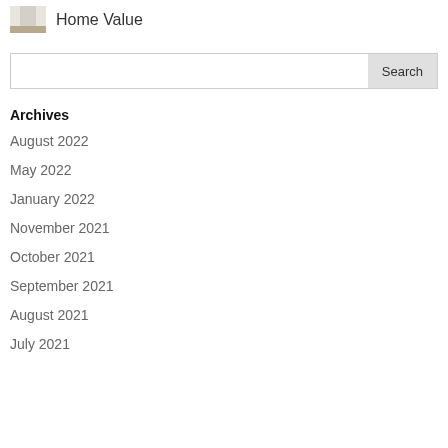[Figure (photo): Small thumbnail image of a bright room interior with curtains and wooden floor, next to text 'Home Value']
Home Value
Search
Archives
August 2022
May 2022
January 2022
November 2021
October 2021
September 2021
August 2021
July 2021